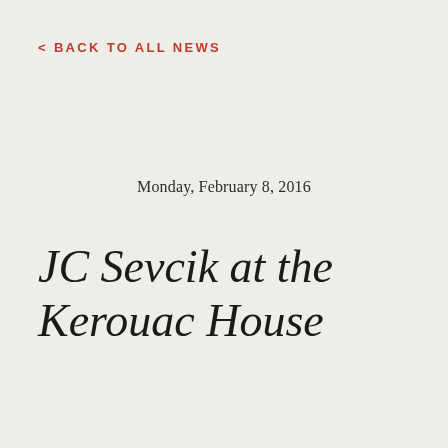< BACK TO ALL NEWS
Monday, February 8, 2016
JC Sevcik at the Kerouac House